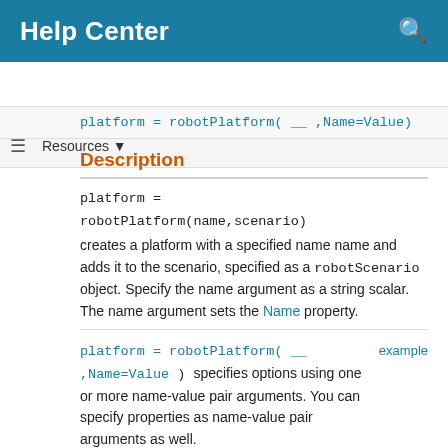Help Center
Resources ▼
platform = robotPlatform( __ ,Name=Value)
Description
platform =
robotPlatform(name,scenario)
creates a platform with a specified name name and adds it to the scenario, specified as a robotScenario object. Specify the name argument as a string scalar. The name argument sets the Name property.
platform = robotPlatform( __ ,Name=Value) specifies options using one or more name-value pair arguments. You can specify properties as name-value pair arguments as well.
Name-Value Arguments
Specify optional pairs of arguments as